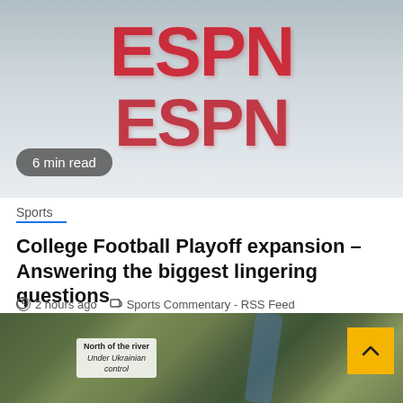[Figure (photo): ESPN logo displayed in large red 3D-style letters on a light blue-gray blurred background]
6 min read
Sports
College Football Playoff expansion – Answering the biggest lingering questions
2 hours ago   Sports Commentary - RSS Feed
[Figure (map): Satellite map image showing a river region with a label box reading 'North of the river Under Ukrainian control'. A yellow back-to-top button with an upward chevron is in the top right.]